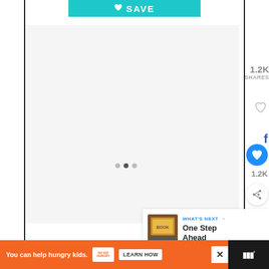[Figure (screenshot): Teal SAVE button with heart icon at top of page]
[Figure (screenshot): Main content area - light gray placeholder image panel with navigation dots]
1.2K
SHARES
[Figure (screenshot): Social sharing sidebar with heart outline icon, Facebook icon, floating blue heart save button, Twitter icon, 1.2K count, and share button]
1.2K
[Figure (screenshot): What's Next panel with book thumbnail image, header 'WHAT'S NEXT →', and title 'One Step Ahead']
[Figure (screenshot): Orange advertisement banner at bottom: 'You can help hungry kids.' with No Kid Hungry logo and LEARN HOW button, with close X button and WW logo on right]